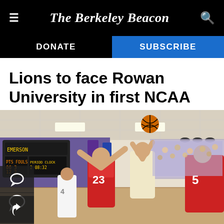The Berkeley Beacon
Lions to face Rowan University in first NCAA tournament appearance
[Figure (photo): A basketball player in a white uniform jumps to shoot the ball while two defenders in red uniforms with numbers 23 and 5 try to block. The game is played in a gym with purple walls, a scoreboard, and a crowd in the background.]